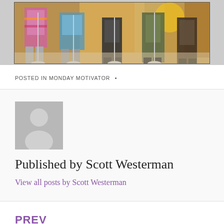[Figure (photo): Bottom portion of a photo showing people's legs and feet standing in a row, colorful outfits, microphone stands visible, warm brown/tan floor background]
POSTED IN MONDAY MOTIVATOR •
[Figure (photo): Generic user avatar placeholder showing a silhouette of a person (head and shoulders) in gray on gray background]
Published by Scott Westerman
View all posts by Scott Westerman
PREV